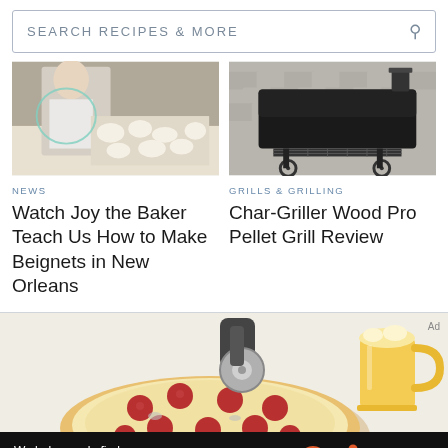SEARCH RECIPES & MORE
[Figure (photo): Person making beignets with dough on a tray]
NEWS
Watch Joy the Baker Teach Us How to Make Beignets in New Orleans
[Figure (photo): Char-Griller Wood Pro Pellet Grill outdoors against shingle wall]
GRILLS & GRILLING
Char-Griller Wood Pro Pellet Grill Review
[Figure (illustration): Pizza with pepperoni being cut, and beer mug illustration]
We help people find answers, solve problems and get inspired.
Dotdash meredith